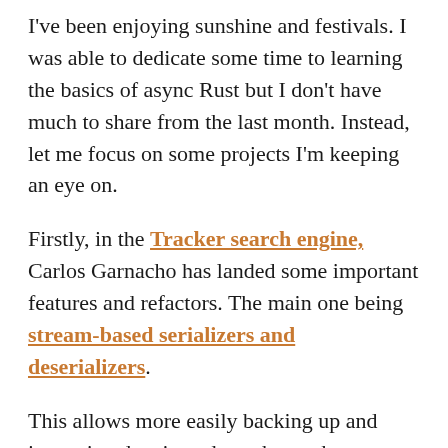I've been enjoying sunshine and festivals. I was able to dedicate some time to learning the basics of async Rust but I don't have much to share from the last month. Instead, let me focus on some projects I'm keeping an eye on.
Firstly, in the Tracker search engine, Carlos Garnacho has landed some important features and refactors. The main one being stream-based serializers and deserializers.
This allows more easily backing up and importing data in and out the tracker-store, and cleaning up some cruft like multiple different implementations of Turtle. It seems ideal having a totally stream-based codec so you can process an effectively infinite amount of data, but there is a tradeoff if you serialize data triple-by-triple – the serialized output is much less human-readable and in some cases larger than if you do some buffering and